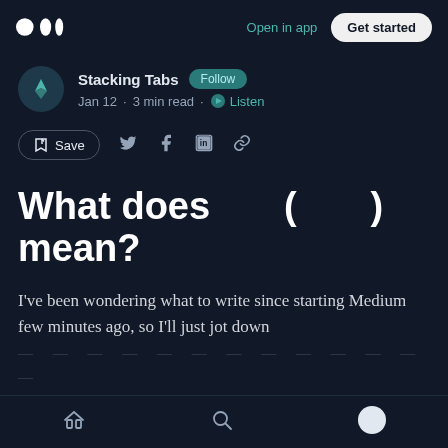Open in app  Get started
Stacking Tabs  Follow
Jan 12 · 3 min read · Listen
Save
What does ( ) mean?
I've been wondering what to write since starting Medium few minutes ago, so I'll just jot down
Home  Search  Profile